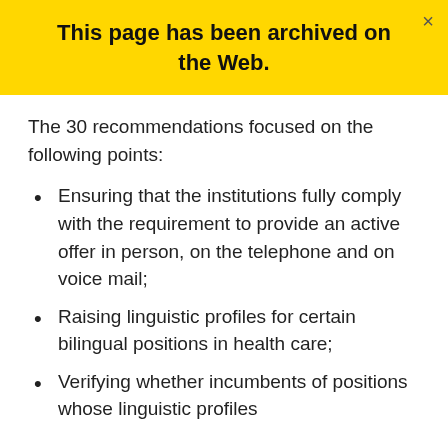This page has been archived on the Web.
The 30 recommendations focused on the following points:
Ensuring that the institutions fully comply with the requirement to provide an active offer in person, on the telephone and on voice mail;
Raising linguistic profiles for certain bilingual positions in health care;
Verifying whether incumbents of positions whose linguistic profiles